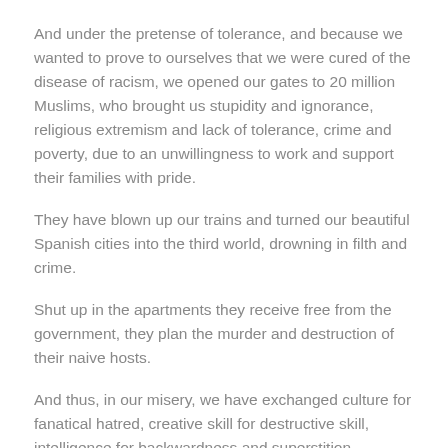And under the pretense of tolerance, and because we wanted to prove to ourselves that we were cured of the disease of racism, we opened our gates to 20 million Muslims, who brought us stupidity and ignorance, religious extremism and lack of tolerance, crime and poverty, due to an unwillingness to work and support their families with pride.
They have blown up our trains and turned our beautiful Spanish cities into the third world, drowning in filth and crime.
Shut up in the apartments they receive free from the government, they plan the murder and destruction of their naive hosts.
And thus, in our misery, we have exchanged culture for fanatical hatred, creative skill for destructive skill, intelligence for backwardness and superstition.
We have exchanged the pursuit of peace of the Jews of Europe and their talent for a better future for their children, their determined clinging to life because life is holy, for those who pursue death, for people consumed by